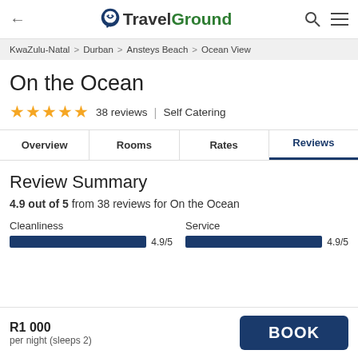TravelGround
KwaZulu-Natal > Durban > Ansteys Beach > Ocean View
On the Ocean
★★★★★ 38 reviews | Self Catering
Overview | Rooms | Rates | Reviews
Review Summary
4.9 out of 5 from 38 reviews for On the Ocean
Cleanliness 4.9/5
Service 4.9/5
R1 000 per night (sleeps 2)